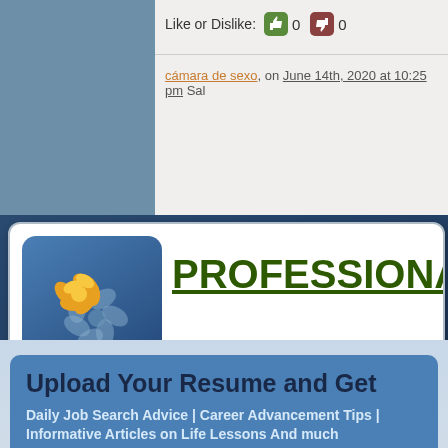Like or Dislike: 0 0
cámara de sexo, on June 14th, 2020 at 10:25 pm Sal
PROFESSIONAL ADVI
[Figure (logo): Flower logo icon with orange and yellow petals on blue gradient rounded square background]
Upload Your Resume and Get
Daily Job Search Advice | Career Advancement Tips | Informative Articles on Life Lessons And much more...
Email Address
Upload Resume    Choose File   No file chosen